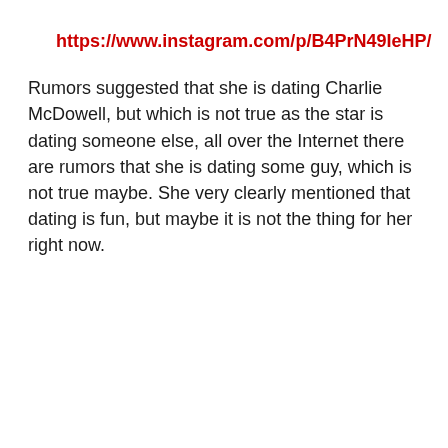https://www.instagram.com/p/B4PrN49IeHP/
Rumors suggested that she is dating Charlie McDowell, but which is not true as the star is dating someone else, all over the Internet there are rumors that she is dating some guy, which is not true maybe. She very clearly mentioned that dating is fun, but maybe it is not the thing for her right now.